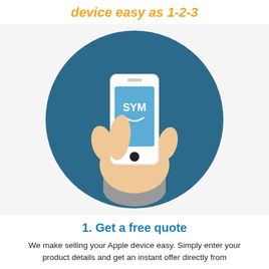device easy as 1-2-3
[Figure (illustration): Illustration of a hand holding a white smartphone with a blue screen showing 'SYM' logo with a smile, inside a dark teal circle background.]
1.  Get a free quote
We make selling your Apple device easy. Simply enter your product details and get an instant offer directly from